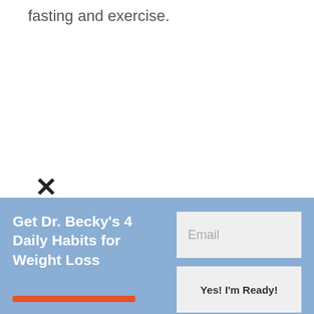fasting and exercise.
[Figure (other): Close/dismiss X icon button]
Get Dr. Becky's 4 Daily Habits for Weight Loss
Email
Yes! I'm Ready!